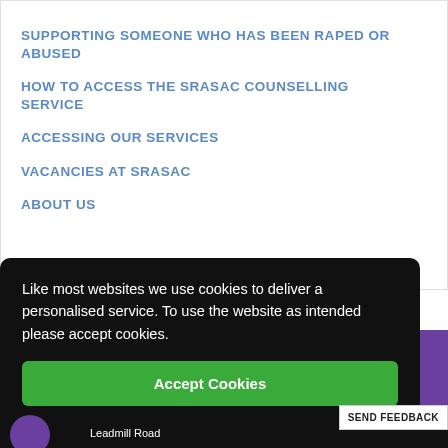SUPPORTING SOMEONE WHO HAS BEEN RAPED OR ABUSED
HOW TO ACCESS THE SRASAC COUNSELLING SERVICE
ACCESSING OUR SERVICES
VACANCIES AT SRASAC
ABOUT US
Like most websites we use cookies to deliver a personalised service. To use the website as intended please accept cookies.
Accept Cookies
SEND FEEDBACK
Leadmill Road